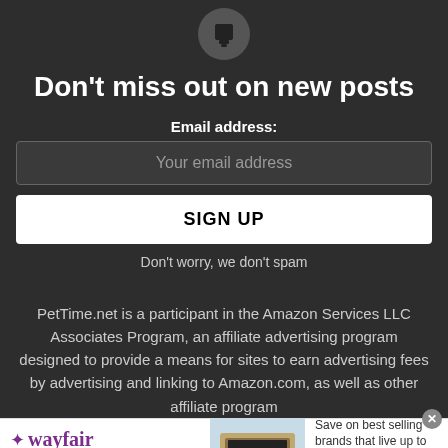[Figure (illustration): Bell/notification icon in a circular dark background]
Don't miss out on new posts
Email address:
Your email address
SIGN UP
Don't worry, we don't spam
PetTime.net is a participant in the Amazon Services LLC Associates Program, an affiliate advertising program designed to provide a means for sites to earn advertising fees by advertising and linking to Amazon.com, as well as other affiliate program
[Figure (illustration): Wayfair advertisement banner: Top Appliances Low Prices, with appliance image and Shop now button]